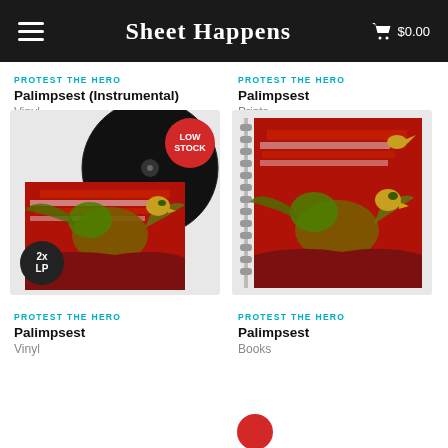Sheet Happens  $0.00
PROTEST THE HERO
Palimpsest (Instrumental)
Vinyl
PROTEST THE HERO
Palimpsest
Prints
[Figure (photo): Vinyl record (black) above red album art cover with eagle and American flag, LOW STOCK badge and 2xLP badge]
[Figure (photo): Spiral-bound book/print with red album art cover featuring eagle and American flag]
PROTEST THE HERO
Palimpsest
Vinyl
PROTEST THE HERO
Palimpsest
Books